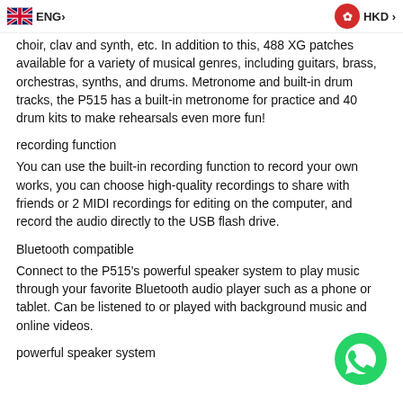ENG > | HKD >
choir, clav and synth, etc. In addition to this, 488 XG patches available for a variety of musical genres, including guitars, brass, orchestras, synths, and drums. Metronome and built-in drum tracks, the P515 has a built-in metronome for practice and 40 drum kits to make rehearsals even more fun!
recording function
You can use the built-in recording function to record your own works, you can choose high-quality recordings to share with friends or 2 MIDI recordings for editing on the computer, and record the audio directly to the USB flash drive.
Bluetooth compatible
Connect to the P515's powerful speaker system to play music through your favorite Bluetooth audio player such as a phone or tablet. Can be listened to or played with background music and online videos.
powerful speaker system